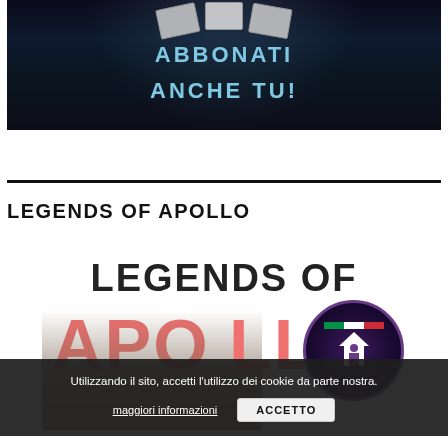[Figure (illustration): Dark blue promotional banner with spotlight effect, showing cards at top and large cyan text reading 'ABBONATI ANCHE TU!']
LEGENDS OF APOLLO
[Figure (illustration): Legends of Apollo promotional image showing bold text 'LEGENDS OF' in dark and 'APOL' in salmon/pink with a person's face visible through the letters and a circular logo with Italian flag and house icon on the right]
Utilizzando il sito, accetti l'utilizzo dei cookie da parte nostra.
maggiori informazioni
ACCETTO